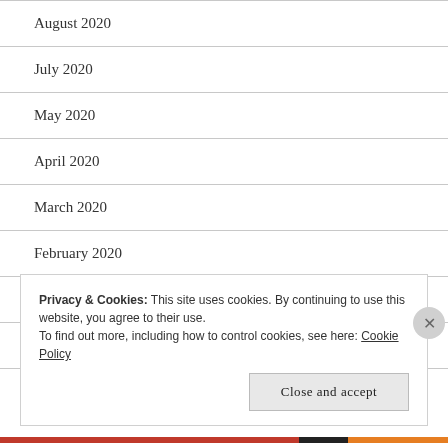August 2020
July 2020
May 2020
April 2020
March 2020
February 2020
January 2020
December 2019
Privacy & Cookies: This site uses cookies. By continuing to use this website, you agree to their use.
To find out more, including how to control cookies, see here: Cookie Policy
Close and accept